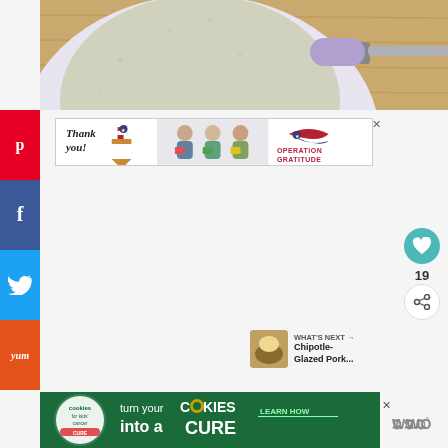[Figure (photo): Close-up photo of a white speckled saucepan with a lavender handle on a wooden surface, viewed from above showing the interior]
[Figure (photo): Social media share buttons sidebar: Pinterest (red), Facebook (dark blue), Twitter (light blue), Yum (orange)]
[Figure (screenshot): Banner advertisement: Thank you with American flag pencil on left, healthcare workers in masks holding cards in center, Operation Gratitude logo on right]
[Figure (infographic): Heart/like button (teal circle) with count 19 below, and share button below that]
19
[Figure (screenshot): WHAT'S NEXT arrow label with thumbnail of Chipotle-Glazed Pork... article]
WHAT'S NEXT → Chipotle-Glazed Pork...
[Figure (screenshot): Bottom banner ad: Cookies for Kids Cancer - turn your COOKIES into a CURE LEARN HOW, with close button]
[Figure (logo): WWO or similar wordmark logo in gray]